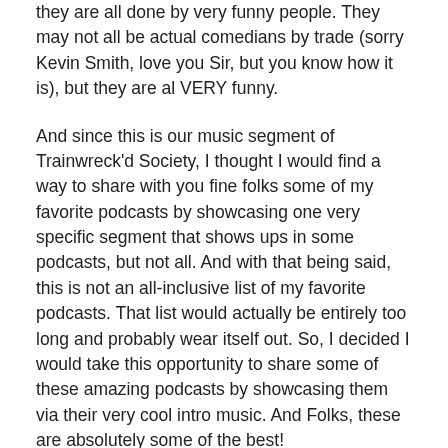they are all done by very funny people. They may not all be actual comedians by trade (sorry Kevin Smith, love you Sir, but you know how it is), but they are al VERY funny.
And since this is our music segment of Trainwreck'd Society, I thought I would find a way to share with you fine folks some of my favorite podcasts by showcasing one very specific segment that shows ups in some podcasts, but not all. And with that being said, this is not an all-inclusive list of my favorite podcasts. That list would actually be entirely too long and probably wear itself out. So, I decided I would take this opportunity to share some of these amazing podcasts by showcasing them via their very cool intro music. And Folks, these are absolutely some of the best!
Each of the podcasts I listed below have been chosen for so many different reasons. Each one is very unique in its